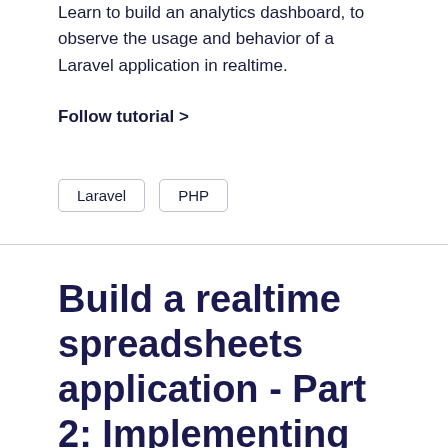Learn to build an analytics dashboard, to observe the usage and behavior of a Laravel application in realtime.
Follow tutorial >
Laravel
PHP
Build a realtime spreadsheets application - Part 2: Implementing